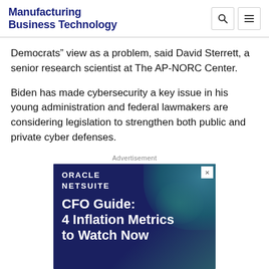Manufacturing Business Technology
Democrats” view as a problem, said David Sterrett, a senior research scientist at The AP-NORC Center.
Biden has made cybersecurity a key issue in his young administration and federal lawmakers are considering legislation to strengthen both public and private cyber defenses.
Advertisement
[Figure (other): Oracle NetSuite advertisement: CFO Guide: 4 Inflation Metrics to Watch Now, dark blue background with teal decorative shapes]